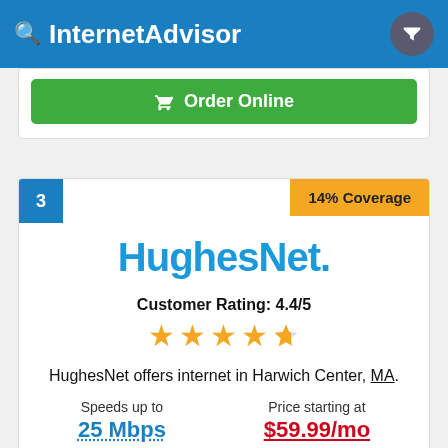InternetAdvisor
[Figure (screenshot): Green Order Online button from previous card]
3
14% Coverage
[Figure (logo): HughesNet logo in blue]
Customer Rating: 4.4/5
[Figure (other): 4.4 out of 5 stars rating display with yellow stars]
HughesNet offers internet in Harwich Center, MA.
Speeds up to
25 Mbps
Price starting at
$59.99/mo
(866) 245-7479
Order Online